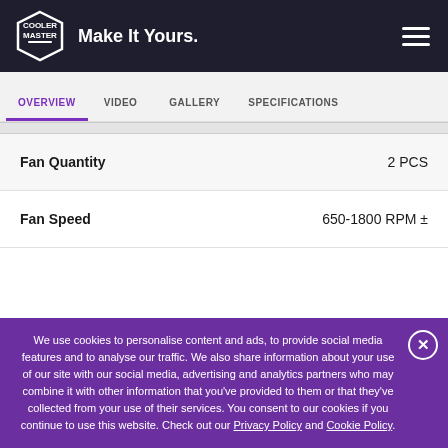[Figure (logo): Cooler Master logo - white hexagonal badge with COOLER MASTER text]
Make It Yours.
OVERVIEW | VIDEO | GALLERY | SPECIFICATIONS
| Spec | Value |
| --- | --- |
| Fan Quantity | 2 PCS |
| Fan Speed | 650-1800 RPM ± |
We use cookies to personalise content and ads, to provide social media features and to analyse our traffic. We also share information about your use of our site with our social media, advertising and analytics partners who may combine it with other information that you've provided to them or that they've collected from your use of their services. You consent to our cookies if you continue to use this website. Check out our Privacy Policy and Cookie Policy.